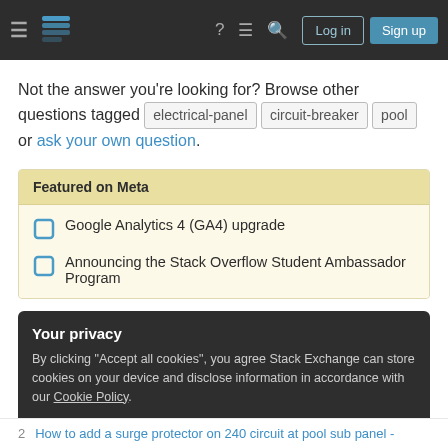Stack Exchange navigation bar with logo, help, chat, search, Log in, Sign up
Not the answer you're looking for? Browse other questions tagged electrical-panel circuit-breaker pool or ask your own question.
Featured on Meta
Google Analytics 4 (GA4) upgrade
Announcing the Stack Overflow Student Ambassador Program
Your privacy
By clicking "Accept all cookies", you agree Stack Exchange can store cookies on your device and disclose information in accordance with our Cookie Policy.
Accept all cookies   Customize settings
2   How to add a surge protector on 240 circuit at pool sub panel -